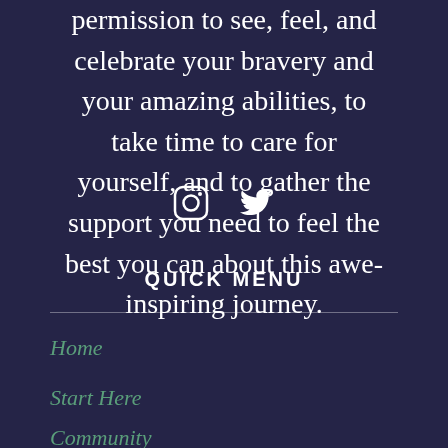permission to see, feel, and celebrate your bravery and your amazing abilities, to take time to care for yourself, and to gather the support you need to feel the best you can about this awe-inspiring journey.
[Figure (infographic): Social media icons: Instagram and Twitter (bird icon), white on dark navy background]
QUICK MENU
Home
Start Here
Community